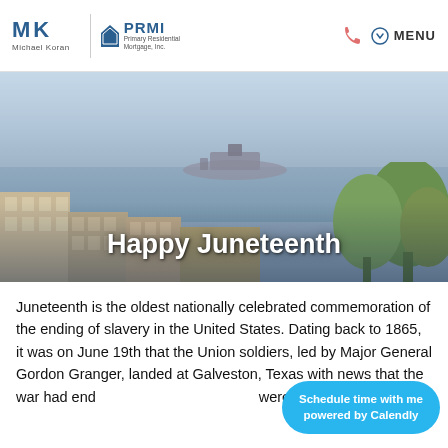MK | Michael Koran | PRMI | Primary Residential Mortgage, Inc. | MENU
[Figure (photo): Aerial cityscape photo of San Francisco with bay and island (Alcatraz) in background, misty sky. Buildings and trees in foreground. Overlaid text reads 'Happy Juneteenth' in large bold white letters.]
Juneteenth is the oldest nationally celebrated commemoration of the ending of slavery in the United States. Dating back to 1865, it was on June 19th that the Union soldiers, led by Major General Gordon Granger, landed at Galveston, Texas with news that the war had ended and that the enslaved were now free.
Schedule time with me
powered by Calendly